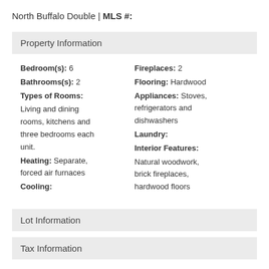North Buffalo Double | MLS #:
Property Information
Bedroom(s): 6
Bathrooms(s): 2
Types of Rooms:
Living and dining rooms, kitchens and three bedrooms each unit.
Heating: Separate, forced air furnaces
Cooling:
Fireplaces: 2
Flooring: Hardwood
Appliances: Stoves, refrigerators and dishwashers
Laundry:
Interior Features:
Natural woodwork, brick fireplaces, hardwood floors
Lot Information
Tax Information